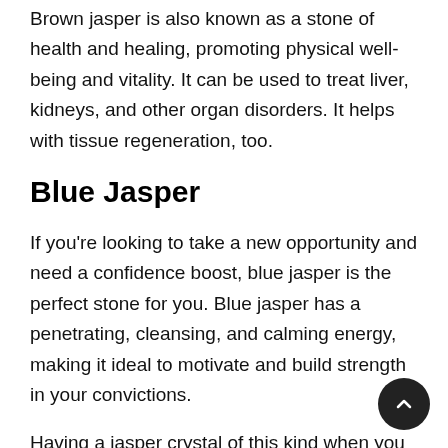Brown jasper is also known as a stone of health and healing, promoting physical well-being and vitality. It can be used to treat liver, kidneys, and other organ disorders. It helps with tissue regeneration, too.
Blue Jasper
If you're looking to take a new opportunity and need a confidence boost, blue jasper is the perfect stone for you. Blue jasper has a penetrating, cleansing, and calming energy, making it ideal to motivate and build strength in your convictions.
Having a jasper crystal of this kind when you starting a new job or moving to a new city can